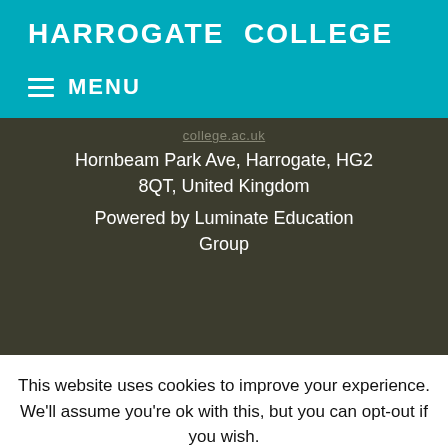HARROGATE COLLEGE
≡ MENU
college.ac.uk
Hornbeam Park Ave, Harrogate, HG2 8QT, United Kingdom
Powered by Luminate Education Group
This website uses cookies to improve your experience. We'll assume you're ok with this, but you can opt-out if you wish.
Cookie settings | ACCEPT